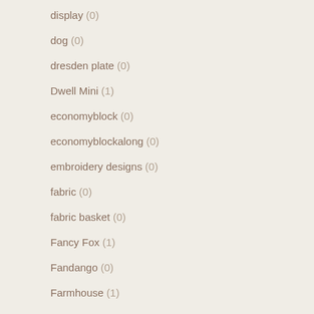display (0)
dog (0)
dresden plate (0)
Dwell Mini (1)
economyblock (0)
economyblockalong (0)
embroidery designs (0)
fabric (0)
fabric basket (0)
Fancy Fox (1)
Fandango (0)
Farmhouse (1)
Fat Quarter Shop (1)
Feather N Stitch (0)